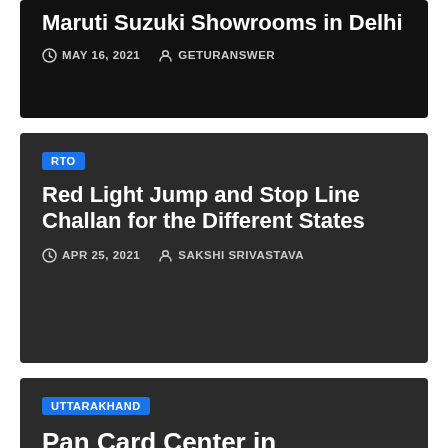Maruti Suzuki Showrooms in Delhi
MAY 16, 2021   GETURANSWER
RTO
Red Light Jump and Stop Line Challan for the Different States
APR 25, 2021   SAKSHI SRIVASTAVA
UTTARAKHAND
Pan Card Center in